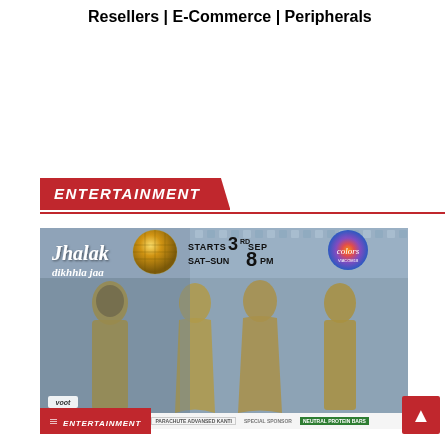Resellers | E-Commerce | Peripherals
ENTERTAINMENT
[Figure (photo): Promotional image for Jhalak Dikhhla Jaa TV show on Colors channel. Shows four people in gold outfits. Text reads: STARTS 3RD SEP SAT-SUN 8PM on Colors. Voot logo visible. Sponsor bar at bottom.]
ENTERTAINMENT